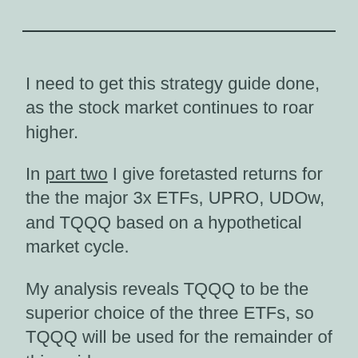I need to get this strategy guide done, as the stock market continues to roar higher.
In part two I give foretasted returns for the the major 3x ETFs, UPRO, UDOw, and TQQQ based on a hypothetical market cycle.
My analysis reveals TQQQ to be the superior choice of the three ETFs, so TQQQ will be used for the remainder of this guide.